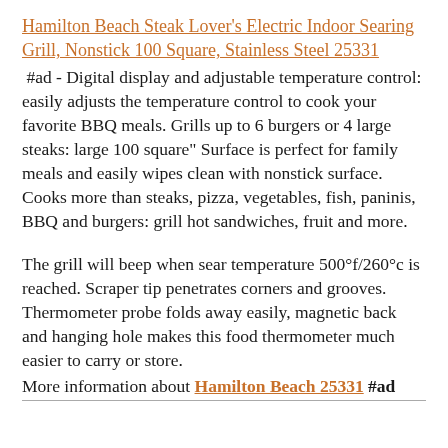Hamilton Beach Steak Lover's Electric Indoor Searing Grill, Nonstick 100 Square, Stainless Steel 25331 #ad - Digital display and adjustable temperature control: easily adjusts the temperature control to cook your favorite BBQ meals. Grills up to 6 burgers or 4 large steaks: large 100 square" Surface is perfect for family meals and easily wipes clean with nonstick surface. Cooks more than steaks, pizza, vegetables, fish, paninis, BBQ and burgers: grill hot sandwiches, fruit and more.
The grill will beep when sear temperature 500°f/260°c is reached. Scraper tip penetrates corners and grooves. Thermometer probe folds away easily, magnetic back and hanging hole makes this food thermometer much easier to carry or store.
More information about Hamilton Beach 25331 #ad